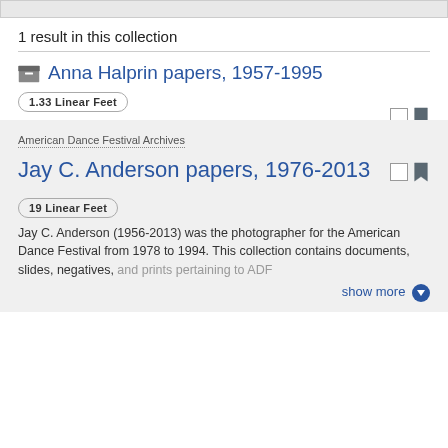1 result in this collection
Anna Halprin papers, 1957-1995
1.33 Linear Feet
American Dance Festival Archives
Jay C. Anderson papers, 1976-2013
19 Linear Feet
Jay C. Anderson (1956-2013) was the photographer for the American Dance Festival from 1978 to 1994. This collection contains documents, slides, negatives, and prints pertaining to ADF
show more